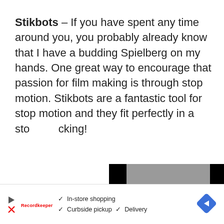Stikbots – If you have spent any time around you, you probably already know that I have a budding Spielberg on my hands. One great way to encourage that passion for film making is through stop motion. Stikbots are a fantastic tool for stop motion and they fit perfectly in a stocking!
[Figure (screenshot): Video player thumbnail showing a gray background with a cyan/blue triangular play button icon with an 'i' symbol inside, flanked by black bars on the sides.]
[Figure (infographic): Advertisement bar at the bottom showing a play button icon, a brand logo in red, checkmarks with text 'In-store shopping', 'Curbside pickup', 'Delivery', and a blue diamond navigation arrow icon on the right.]